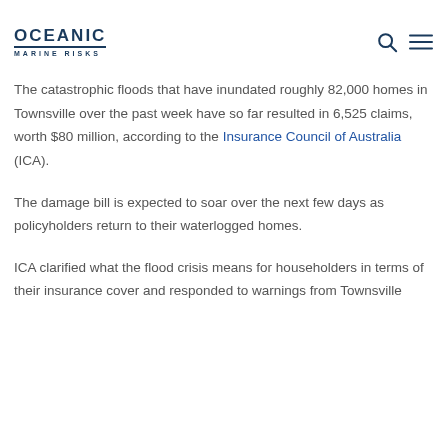OCEANIC MARINE RISKS
The catastrophic floods that have inundated roughly 82,000 homes in Townsville over the past week have so far resulted in 6,525 claims, worth $80 million, according to the Insurance Council of Australia (ICA).
The damage bill is expected to soar over the next few days as policyholders return to their waterlogged homes.
ICA clarified what the flood crisis means for householders in terms of their insurance cover and responded to warnings from Townsville